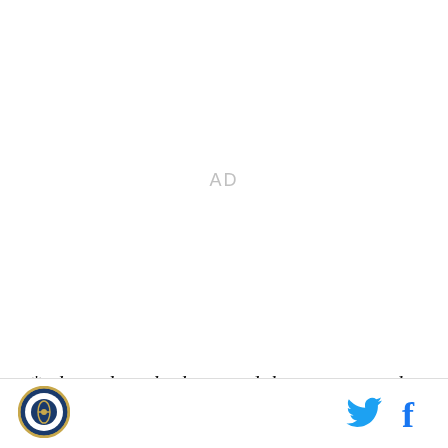[Figure (other): AD placeholder — blank white advertisement area with 'AD' text in light gray]
*takes a long look around the room to make sure Alcides Escobar doesn't burst through the door*
[Figure (logo): Royals/baseball circular team logo with gold and navy colors]
[Figure (other): Twitter bird icon in cyan blue]
[Figure (other): Facebook 'f' icon in blue]